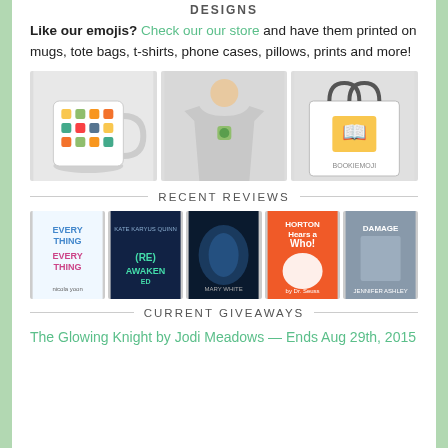DESIGNS
Like our emojis? Check our our store and have them printed on mugs, tote bags, t-shirts, phone cases, pillows, prints and more!
[Figure (photo): Three product photos: a mug with emoji designs, a t-shirt with emoji on chest, and a tote bag with a book emoji character]
RECENT REVIEWS
[Figure (photo): Five book covers in a row: Everything Everything, Awaken, a fantasy book, Horton Hears a Who!, and Damage]
CURRENT GIVEAWAYS
The Glowing Knight by Jodi Meadows — Ends Aug 29th, 2015